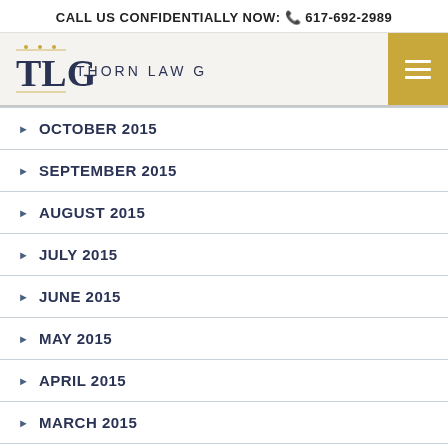CALL US CONFIDENTIALLY NOW: 617-692-2989
[Figure (logo): TLG Thorn Law Group logo with menu button]
OCTOBER 2015
SEPTEMBER 2015
AUGUST 2015
JULY 2015
JUNE 2015
MAY 2015
APRIL 2015
MARCH 2015
FEBRUARY 2015